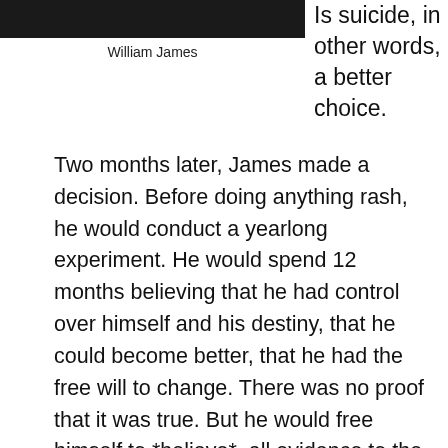[Figure (photo): Dark portrait photograph of William James, cropped at top of page]
William James
Is suicide, in other words, a better choice.
Two months later, James made a decision. Before doing anything rash, he would conduct a yearlong experiment. He would spend 12 months believing that he had control over himself and his destiny, that he could become better, that he had the free will to change. There was no proof that it was true. But he would free himself to *believe*, all evidence to the contrary, that change was possible. “I think that yesterday was a crisis in my life,” he wrote in his diary. Regarding his ability to change, “I will assume for the present — until next year — that it